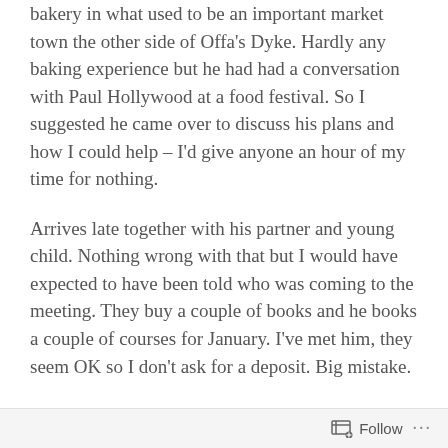bakery in what used to be an important market town the other side of Offa's Dyke. Hardly any baking experience but he had had a conversation with Paul Hollywood at a food festival. So I suggested he came over to discuss his plans and how I could help – I'd give anyone an hour of my time for nothing.
Arrives late together with his partner and young child. Nothing wrong with that but I would have expected to have been told who was coming to the meeting. They buy a couple of books and he books a couple of courses for January. I've met him, they seem OK so I don't ask for a deposit. Big mistake.
Come January he's scaled down his plans and
Follow ···